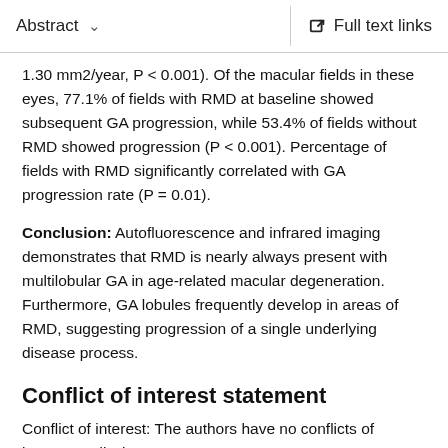Abstract  ∨    Full text links
1.30 mm2/year, P < 0.001). Of the macular fields in these eyes, 77.1% of fields with RMD at baseline showed subsequent GA progression, while 53.4% of fields without RMD showed progression (P < 0.001). Percentage of fields with RMD significantly correlated with GA progression rate (P = 0.01).
Conclusion: Autofluorescence and infrared imaging demonstrates that RMD is nearly always present with multilobular GA in age-related macular degeneration. Furthermore, GA lobules frequently develop in areas of RMD, suggesting progression of a single underlying disease process.
Conflict of interest statement
Conflict of interest: The authors have no conflicts of interest to disclose.